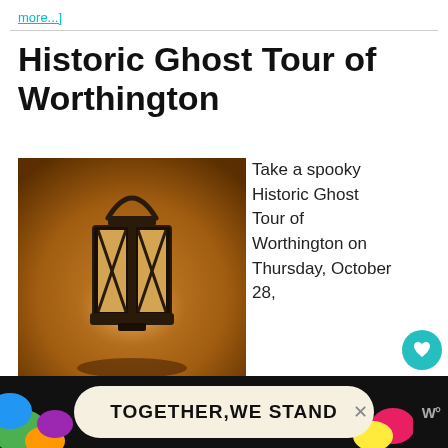more...]
Historic Ghost Tour of Worthington
[Figure (photo): A glowing metal lantern with glass panels, lit from within, against a warm brown background]
Take a spooky Historic Ghost Tour of Worthington on Thursday, October 28, 2021 from 7-8:30 pm. The Worthington Historical Society will lead guests on a tour under the moon, starting at the Old
[Figure (infographic): WHAT'S NEXT arrow label with thumbnail image and text: OSU CHAIRE Family-Anim...]
[Figure (infographic): Advertisement banner: TOGETHER WE STAND with colorful shapes on dark background, close button, and logo]